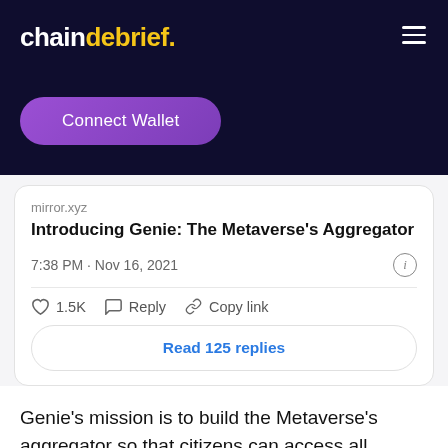chaindebrief.
Connect Wallet
mirror.xyz
Introducing Genie: The Metaverse's Aggregator
7:38 PM · Nov 16, 2021
1.5K  Reply  Copy link
Read 125 replies
Genie's mission is to build the Metaverse's aggregator so that citizens can access all liquidity and information regardless of its location. Genie will deliver immutable wishe…